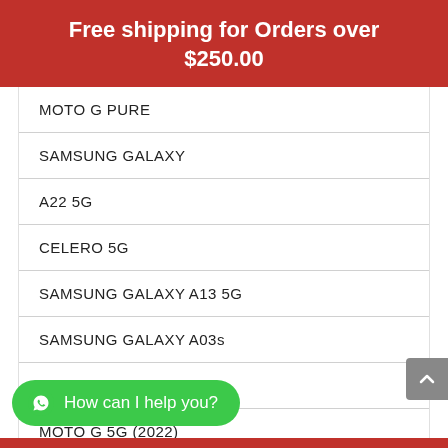Free shipping for Orders over $250.00
MOTO G PURE
SAMSUNG GALAXY
A22 5G
CELERO 5G
SAMSUNG GALAXY A13 5G
SAMSUNG GALAXY A03s
A33
MOTO G 5G (2022)
How can I help you?